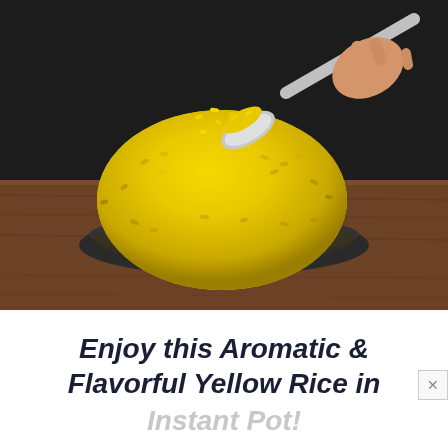[Figure (photo): A mound of bright yellow turmeric rice piled high on a dark round plate on a wooden surface. A hand holding a silver spoon scoops from the top of the rice mound. Dark background behind the scene.]
Enjoy this Aromatic & Flavorful Yellow Rice in Instant Pot!